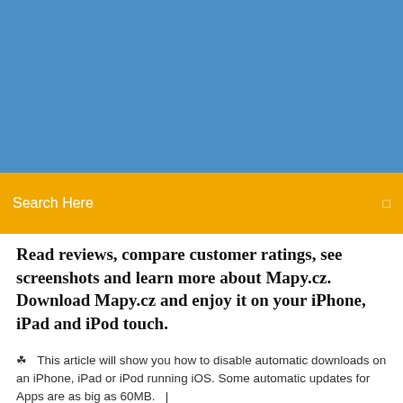[Figure (screenshot): Blue banner area at the top of a mobile app/website page]
Search Here
Read reviews, compare customer ratings, see screenshots and learn more about Mapy.cz. Download Mapy.cz and enjoy it on your iPhone, iPad and iPod touch.
This article will show you how to disable automatic downloads on an iPhone, iPad or iPod running iOS. Some automatic updates for Apps are as big as 60MB.  |